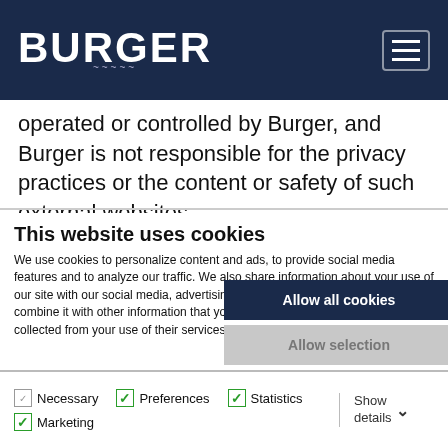BURGER
operated or controlled by Burger, and Burger is not responsible for the privacy practices or the content or safety of such external websites.
This website uses cookies
We use cookies to personalize content and ads, to provide social media features and to analyze our traffic. We also share information about your use of our site with our social media, advertising and analytics partners who may combine it with other information that you've provided to them or that they've collected from your use of their services.
Allow all cookies
Allow selection
Use necessary cookies only
Necessary  Preferences  Statistics  Marketing  Show details